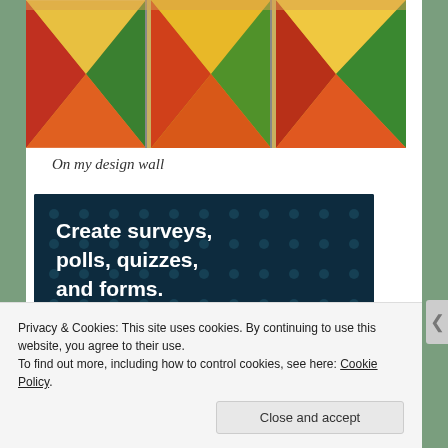[Figure (photo): Colorful quilt blocks arranged in a row with geometric triangular patterns in red, orange, yellow, and green fabrics on a design wall]
On my design wall
[Figure (infographic): CrowdSignal advertisement banner with dark navy background and polka dots reading 'Create surveys, polls, quizzes, and forms.' with a pink 'Start now' button and CrowdSignal logo badge]
Privacy & Cookies: This site uses cookies. By continuing to use this website, you agree to their use.
To find out more, including how to control cookies, see here: Cookie Policy
Close and accept